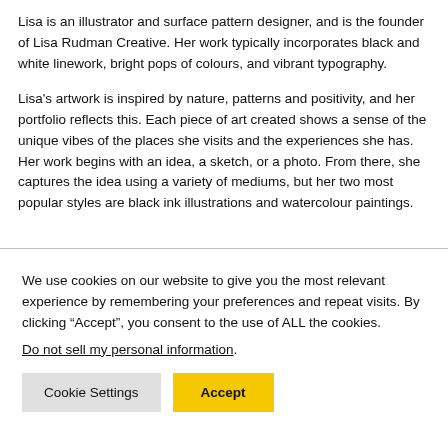Lisa is an illustrator and surface pattern designer, and is the founder of Lisa Rudman Creative. Her work typically incorporates black and white linework, bright pops of colours, and vibrant typography.
Lisa's artwork is inspired by nature, patterns and positivity, and her portfolio reflects this. Each piece of art created shows a sense of the unique vibes of the places she visits and the experiences she has. Her work begins with an idea, a sketch, or a photo. From there, she captures the idea using a variety of mediums, but her two most popular styles are black ink illustrations and watercolour paintings.
We use cookies on our website to give you the most relevant experience by remembering your preferences and repeat visits. By clicking “Accept”, you consent to the use of ALL the cookies.
Do not sell my personal information.